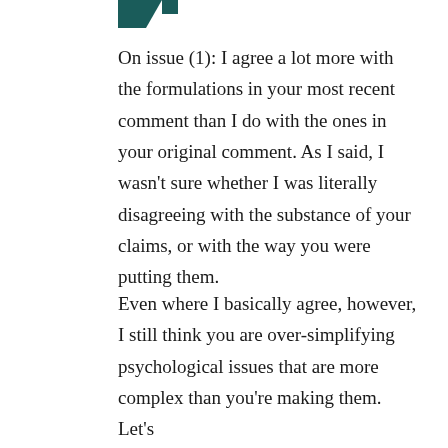[Figure (other): Partial dark teal/green icon or logo at top left, only bottom portion visible]
On issue (1): I agree a lot more with the formulations in your most recent comment than I do with the ones in your original comment. As I said, I wasn’t sure whether I was literally disagreeing with the substance of your claims, or with the way you were putting them.
Even where I basically agree, however, I still think you are over-simplifying psychological issues that are more complex than you’re making them. Let’s